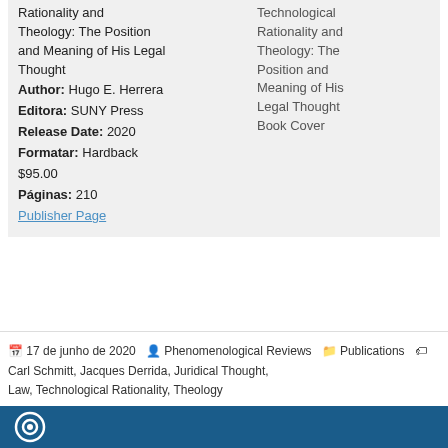Rationality and Theology: The Position and Meaning of His Legal Thought
Author: Hugo E. Herrera
Editora: SUNY Press
Release Date: 2020
Formatar: Hardback
$95.00
Páginas: 210
Publisher Page
Technological Rationality and Theology: The Position and Meaning of His Legal Thought Book Cover
17 de junho de 2020  Phenomenological Reviews  Publications  Carl Schmitt, Jacques Derrida, Juridical Thought, Law, Technological Rationality, Theology